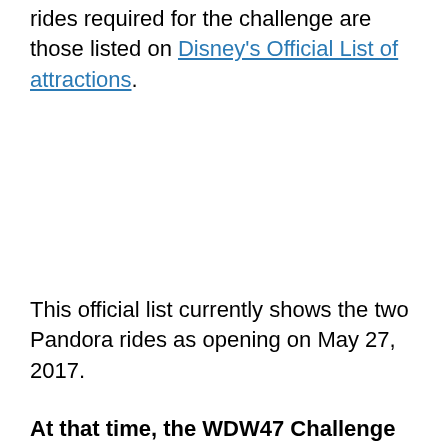rides required for the challenge are those listed on Disney's Official List of attractions.
This official list currently shows the two Pandora rides as opening on May 27, 2017.
At that time, the WDW47 Challenge will become the WDW49 Challenge.
Beginning May 27, Challengers will be required to ride the two Pandora rides in addition to the other 47 Walt Disney World